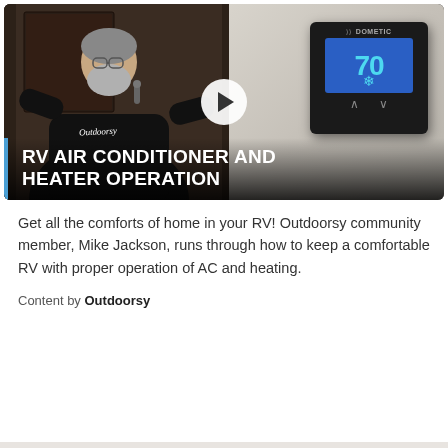[Figure (photo): Video thumbnail showing a man in an Outdoorsy t-shirt standing in front of a dark wood door on the left, and a Dometic thermostat displaying 70 degrees on the right. A play button is centered on the image. Text overlay at the bottom reads 'RV AIR CONDITIONER AND HEATER OPERATION' in large white bold uppercase letters with a blue vertical bar on the left.]
Get all the comforts of home in your RV! Outdoorsy community member, Mike Jackson, runs through how to keep a comfortable RV with proper operation of AC and heating.
Content by Outdoorsy